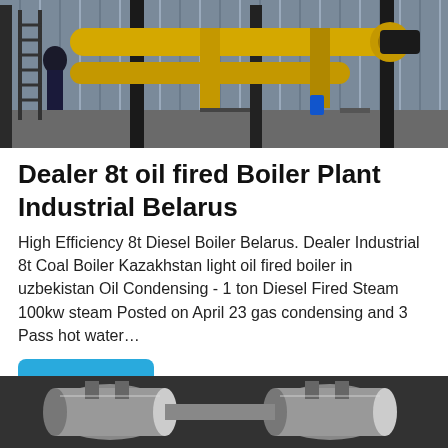[Figure (photo): Industrial boiler plant installation showing yellow pipes, metal structures, a ladder, and industrial equipment inside a corrugated metal building.]
Dealer 8t oil fired Boiler Plant Industrial Belarus
High Efficiency 8t Diesel Boiler Belarus. Dealer Industrial 8t Coal Boiler Kazakhstan light oil fired boiler in uzbekistan Oil Condensing - 1 ton Diesel Fired Steam 100kw steam Posted on April 23 gas condensing and 3 Pass hot water…
Get Price
[Figure (photo): Close-up of industrial boiler or heating equipment with metallic cylindrical components and pipes, photographed in low light.]